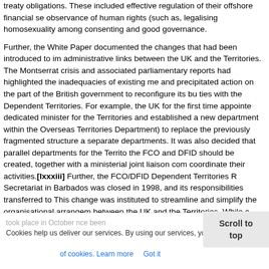treaty obligations. These included effective regulation of their offshore financial se observance of human rights (such as, legalising homosexuality among consenting and good governance.
Further, the White Paper documented the changes that had been introduced to im administrative links between the UK and the Territories. The Montserrat crisis and associated parliamentary reports had highlighted the inadequacies of existing me and precipitated action on the part of the British government to reconfigure its bu ties with the Dependent Territories. For example, the UK for the first time appointe dedicated minister for the Territories and established a new department within the Overseas Territories Department) to replace the previously fragmented structure a separate departments. It was also decided that parallel departments for the Territo the FCO and DFID should be created, together with a ministerial joint liaison com coordinate their activities.[lxxxiii] Further, the FCO/DFID Dependent Territories R Secretariat in Barbados was closed in 1998, and its responsibilities transferred to This change was instituted to streamline and simplify the organisational arrangem between the UK and the Territories. While a new political forum, the Overseas Te Consultative Council was established to bring together British ministers and Territo representatives to discuss matters of concern. This was the first time that a forma been established to bring together politicians from both sides.
took place in October ... since been